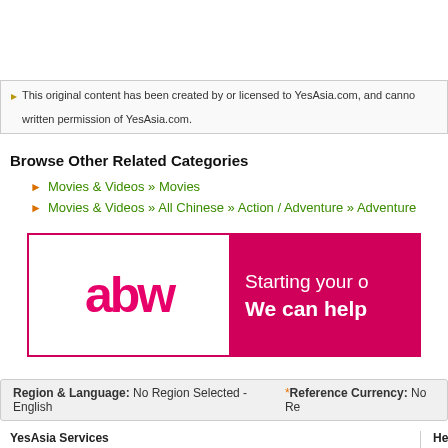This original content has been created by or licensed to YesAsia.com, and cannot be reproduced without written permission of YesAsia.com.
Browse Other Related Categories
Movies & Videos » Movies
Movies & Videos » All Chinese » Action / Adventure » Adventure
[Figure (screenshot): abw advertisement banner — logo on left, 'Starting your o... We can help' on pink/magenta right panel]
Region & Language: No Region Selected - English  *Reference Currency: No Re...
YesAsia Services
Shopping Cart
Newsletter (Member)
My Account
Order Tracking
Associate Program
Bulk Order Discounts
Help
Customer...
About Sh...
Return P...